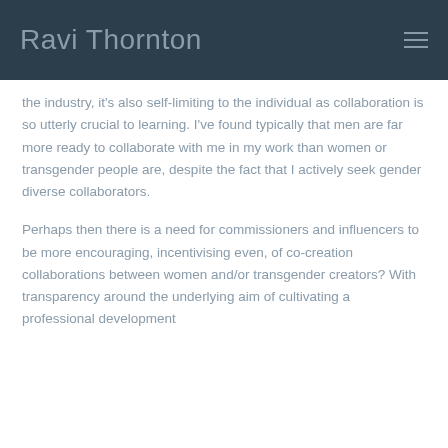Ravi Thornton
the industry, it's also self-limiting to the individual as collaboration is so utterly crucial to learning. I've found typically that men are far more ready to collaborate with me in my work than women or transgender people are, despite the fact that I actively seek gender diverse collaborators.
Perhaps then there is a need for commissioners and influencers to be more encouraging, incentivising even, of co-creation collaborations between women and/or transgender creators? With transparency around the underlying aim of cultivating a professional development